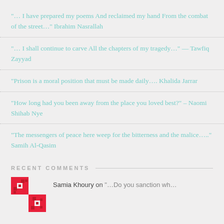"… I have prepared my poems And reclaimed my hand From the combat of the street…" Ibrahim Nasrallah
"… I shall continue to carve All the chapters of my tragedy…" — Tawfiq Zayyad
"Prison is a moral position that must be made daily…." Khalida Jarrar
"How long had you been away from the place you loved best?" – Naomi Shihab Nye
"The messengers of peace here weep for the bitterness and the malice…." Samih Al-Qasim
RECENT COMMENTS
Samia Khoury on "…Do you sanction wh…